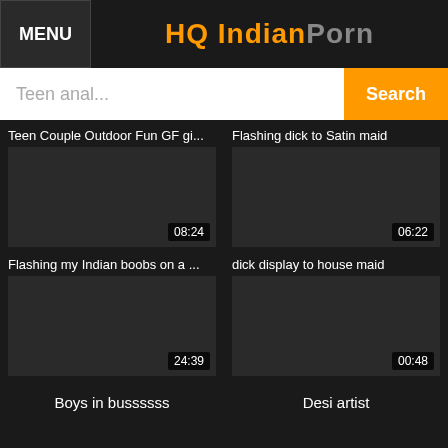MENU | HQ InadianPorn
Teen anal... Search
Teen Couple Outdoor Fun GF gi...
Flashing dick to Satin maid
[Figure (other): Video thumbnail placeholder dark, duration 08:24]
[Figure (other): Video thumbnail placeholder dark, duration 06:22]
Flashing my Indian boobs on a ...
dick display to house maid
[Figure (other): Video thumbnail placeholder dark, duration 24:39]
[Figure (other): Video thumbnail placeholder dark, duration 00:48]
Boys in bussssss
Desi artist